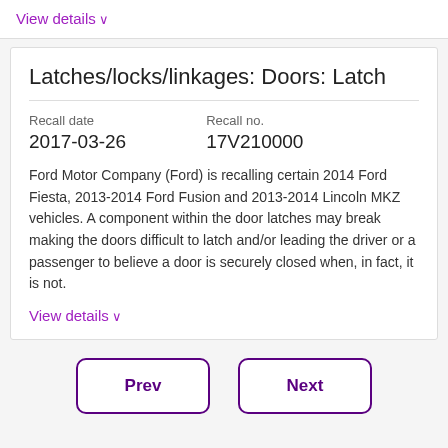View details ∨
Latches/locks/linkages: Doors: Latch
Recall date
2017-03-26
Recall no.
17V210000
Ford Motor Company (Ford) is recalling certain 2014 Ford Fiesta, 2013-2014 Ford Fusion and 2013-2014 Lincoln MKZ vehicles. A component within the door latches may break making the doors difficult to latch and/or leading the driver or a passenger to believe a door is securely closed when, in fact, it is not.
View details ∨
Prev
Next